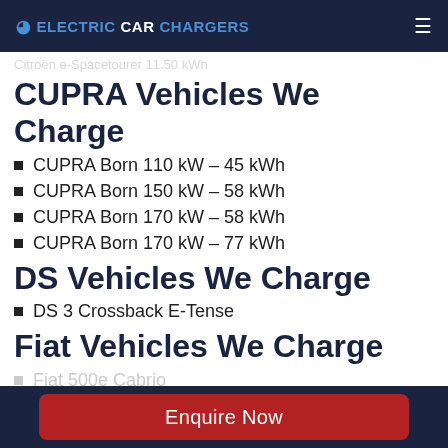ELECTRICCARCHARGERS
Citroën e-Spacetourer 11.50 kWh
CUPRA Vehicles We Charge
CUPRA Born 110 kW – 45 kWh
CUPRA Born 150 kW – 58 kWh
CUPRA Born 170 kW – 58 kWh
CUPRA Born 170 kW – 77 kWh
DS Vehicles We Charge
DS 3 Crossback E-Tense
Fiat Vehicles We Charge
Fiat 500e Cabrio
Enquire Now